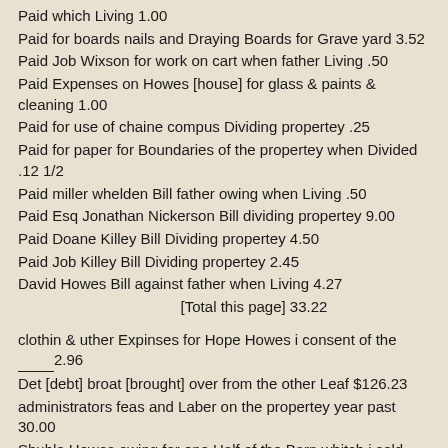Paid which Living 1.00 [partial/cut off at top]
Paid for boards nails and Draying Boards for Grave yard 3.52
Paid Job Wixson for work on cart when father Living .50
Paid Expenses on Howes [house] for glass & paints & cleaning 1.00
Paid for use of chaine compus Dividing propertey .25
Paid for paper for Boundaries of the propertey when Divided .12 1/2
Paid miller whelden Bill father owing when Living .50
Paid Esq Jonathan Nickerson Bill dividing propertey 9.00
Paid Doane Killey Bill Dividing propertey 4.50
Paid Job Killey Bill Dividing propertey 2.45
David Howes Bill against father when Living 4.27
[Total this page] 33.22
clothin & uther Expinses for Hope Howes i consent of the ____2.96
Det [debt] broat [brought] over from the other Leaf $126.23
administrators feas and Laber on the propertey year past 30.00
Shuble Howes owing for one Half of the Barn whitch i sold him 15.00